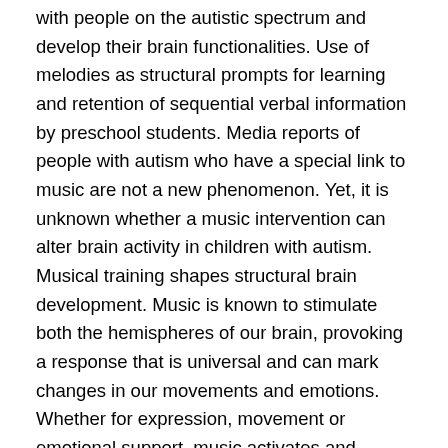with people on the autistic spectrum and develop their brain functionalities. Use of melodies as structural prompts for learning and retention of sequential verbal information by preschool students. Media reports of people with autism who have a special link to music are not a new phenomenon. Yet, it is unknown whether a music intervention can alter brain activity in children with autism. Musical training shapes structural brain development. Music is known to stimulate both the hemispheres of our brain, provoking a response that is universal and can mark changes in our movements and emotions. Whether for expression, movement or emotional support, music activates and connects different parts of the brain, helping them improve lives. Your email address will not be published. Music also aids tremendously in memory retention. Check out Wan & Schlaug's article to read further on language, music, autism and the brain. May 25, 2011 -- A common brain defect occurs in about 75% of people with autism, molecular analysis of autistic brains reveals.. Much more research is needed in this area and hopefully will be